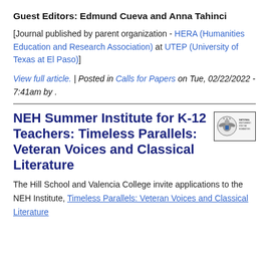Guest Editors: Edmund Cueva and Anna Tahinci
[Journal published by parent organization - HERA (Humanities Education and Research Association) at UTEP (University of Texas at El Paso)]
View full article.  |  Posted in Calls for Papers on Tue, 02/22/2022 - 7:41am by .
NEH Summer Institute for K-12 Teachers: Timeless Parallels: Veteran Voices and Classical Literature
[Figure (logo): NEH (National Endowment for the Humanities) logo with eagle seal]
The Hill School and Valencia College invite applications to the NEH Institute, Timeless Parallels: Veteran Voices and Classical Literature